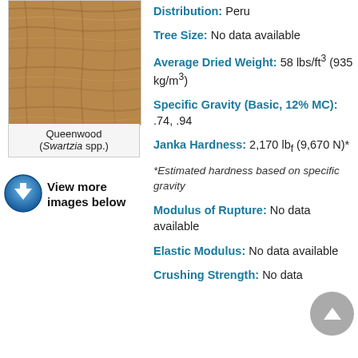[Figure (photo): Wood grain texture photo of Queenwood (Swartzia spp.) showing brown wood pattern]
Queenwood (Swartzia spp.)
[Figure (other): Blue download icon button with text 'View more images below']
Distribution: Peru
Tree Size: No data available
Average Dried Weight: 58 lbs/ft³ (935 kg/m³)
Specific Gravity (Basic, 12% MC): .74, .94
Janka Hardness: 2,170 lbf (9,670 N)*
*Estimated hardness based on specific gravity
Modulus of Rupture: No data available
Elastic Modulus: No data available
Crushing Strength: No data